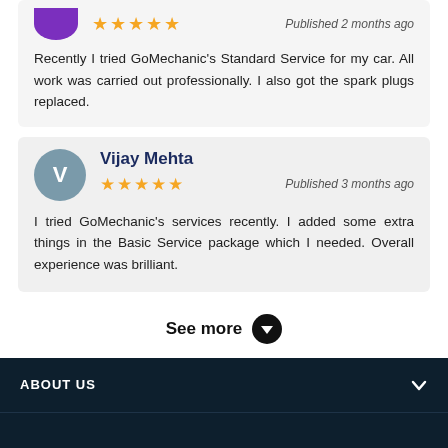Recently I tried GoMechanic's Standard Service for my car. All work was carried out professionally. I also got the spark plugs replaced.
Vijay Mehta
Published 3 months ago
I tried GoMechanic's services recently. I added some extra things in the Basic Service package which I needed. Overall experience was brilliant.
See more
ABOUT US
OUR SERVICES